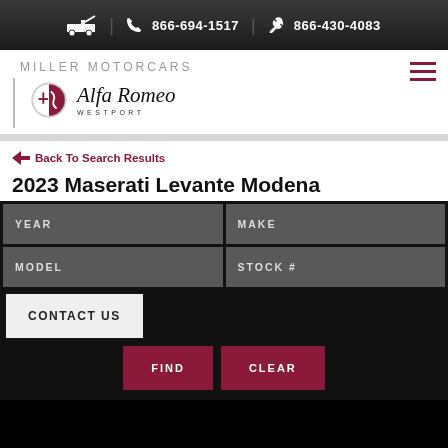866-694-1517 | 866-430-4083
MILLER MOTORCARS
[Figure (logo): Alfa Romeo Westport logo with circular emblem and italic script wordmark]
Back To Search Results
2023 Maserati Levante Modena
| YEAR | MAKE |
| --- | --- |
| MODEL | STOCK # |
CONTACT US
FIND
CLEAR